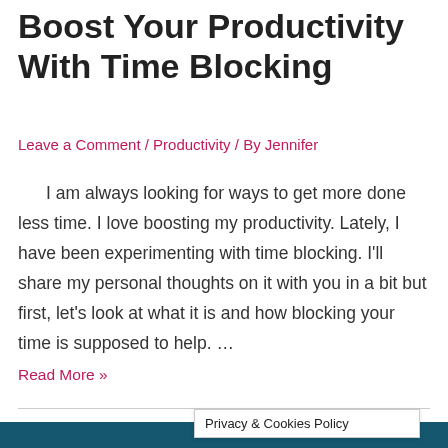Boost Your Productivity With Time Blocking
Leave a Comment / Productivity / By Jennifer
I am always looking for ways to get more done less time. I love boosting my productivity.  Lately, I have been experimenting with time blocking. I'll share my personal thoughts on it with you in a bit but first, let's look at what it is and how blocking your time is supposed to help. …
Read More »
Privacy & Cookies Policy